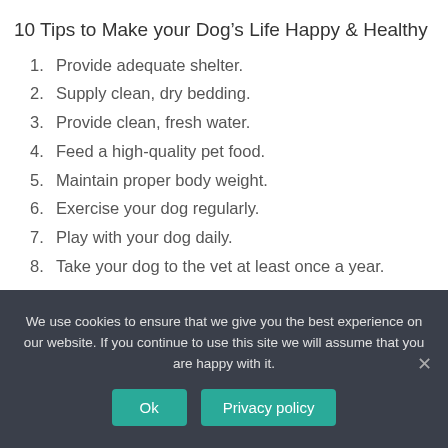10 Tips to Make your Dog’s Life Happy & Healthy
1. Provide adequate shelter.
2. Supply clean, dry bedding.
3. Provide clean, fresh water.
4. Feed a high-quality pet food.
5. Maintain proper body weight.
6. Exercise your dog regularly.
7. Play with your dog daily.
8. Take your dog to the vet at least once a year.
We use cookies to ensure that we give you the best experience on our website. If you continue to use this site we will assume that you are happy with it.